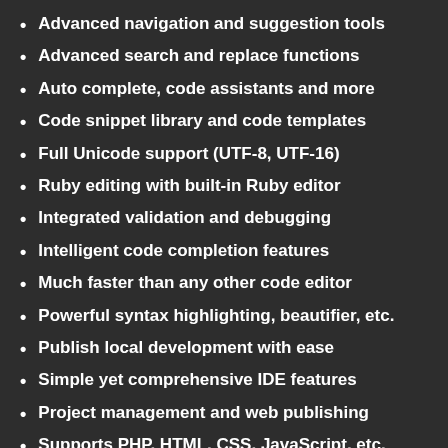Advanced navigation and suggestion tools
Advanced search and replace functions
Auto complete, code assistants and more
Code snippet library and code templates
Full Unicode support (UTF-8, UTF-16)
Ruby editing with built-in Ruby editor
Integrated validation and debugging
Intelligent code completion features
Much faster than any other code editor
Powerful syntax highlighting, beautifier, etc.
Publish local development with ease
Simple yet comprehensive IDE features
Project management and web publishing
Supports PHP, HTML, CSS, JavaScript, etc.
And more.